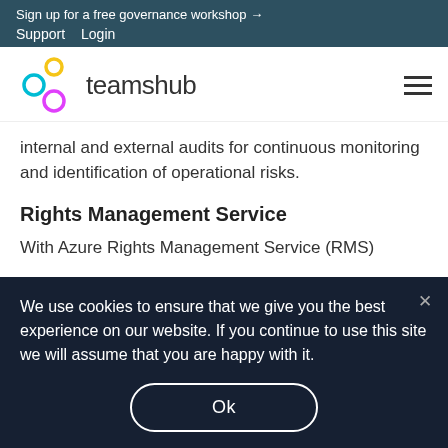Sign up for a free governance workshop →
Support   Login
[Figure (logo): Teamshub logo with three connected circles (yellow, cyan, magenta) and the text 'teamshub']
internal and external audits for continuous monitoring and identification of operational risks.
Rights Management Service
With Azure Rights Management Service (RMS)
We use cookies to ensure that we give you the best experience on our website. If you continue to use this site we will assume that you are happy with it.